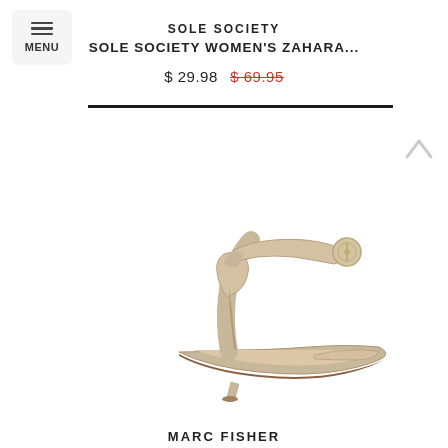MENU
SOLE SOCIETY
SOLE SOCIETY WOMEN'S ZAHARA...
$ 29.98  $ 69.95
[Figure (photo): A nude/cream patent leather high-heel sandal with ankle strap and circular buckle, thin stiletto heel, and open toe, photographed on white background.]
MARC FISHER